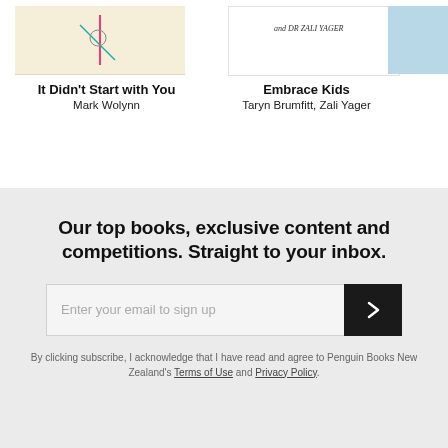It Didn't Start with You
Mark Wolynn
Embrace Kids
Taryn Brumfitt, Zali Yager
Our top books, exclusive content and competitions. Straight to your inbox.
Enter your email to sign up
By clicking subscribe, I acknowledge that I have read and agree to Penguin Books New Zealand's Terms of Use and Privacy Policy.